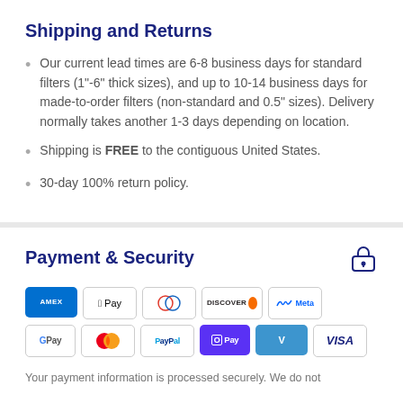Shipping and Returns
Our current lead times are 6-8 business days for standard filters (1"-6" thick sizes), and up to 10-14 business days for made-to-order filters (non-standard and 0.5" sizes). Delivery normally takes another 1-3 days depending on location.
Shipping is FREE to the contiguous United States.
30-day 100% return policy.
Payment & Security
[Figure (infographic): Payment method logos: Amex, Apple Pay, Diners Club, Discover, Meta Pay, Google Pay, Mastercard, PayPal, Shop Pay, Venmo, Visa]
Your payment information is processed securely. We do not